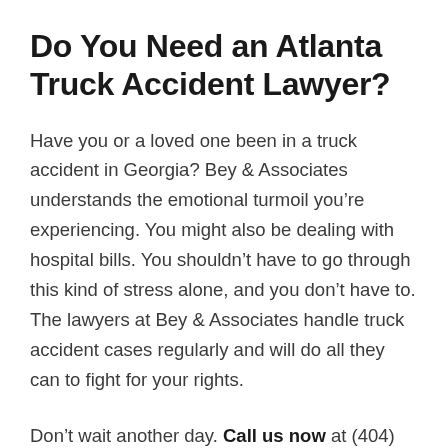Do You Need an Atlanta Truck Accident Lawyer?
Have you or a loved one been in a truck accident in Georgia? Bey & Associates understands the emotional turmoil you’re experiencing. You might also be dealing with hospital bills. You shouldn’t have to go through this kind of stress alone, and you don’t have to. The lawyers at Bey & Associates handle truck accident cases regularly and will do all they can to fight for your rights.
Don’t wait another day. Call us now at (404) 344-4448 and we’ll discuss your options and what is